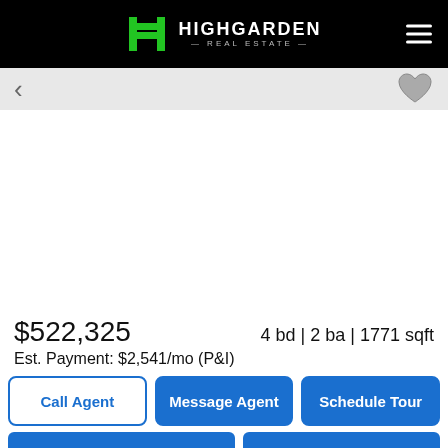HIGHGARDEN REAL ESTATE
[Figure (screenshot): Property photo area (blank/white) with navigation arrow on the left and a heart/favorite icon on the right]
$522,325    4 bd | 2 ba | 1771 sqft
Est. Payment: $2,541/mo (P&I)
Call Agent | Message Agent | Schedule Tour